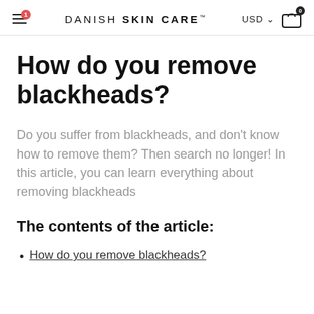DANISH SKIN CARE™  USD  0
How do you remove blackheads?
Do you suffer from blackheads, and don't know how to remove them? Then search no longer! In this article, you can learn everything about removing blackheads
The contents of the article:
How do you remove blackheads?